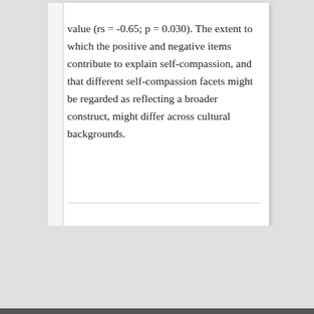value (rs = -0.65; p = 0.030). The extent to which the positive and negative items contribute to explain self-compassion, and that different self-compassion facets might be regarded as reflecting a broader construct, might differ across cultural backgrounds.